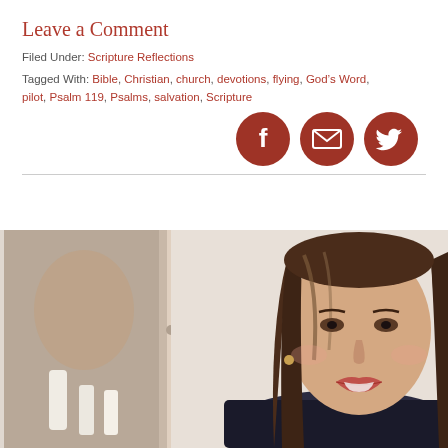Leave a Comment
Filed Under: Scripture Reflections
Tagged With: Bible, Christian, church, devotions, flying, God’s Word, pilot, Psalm 119, Psalms, salvation, Scripture
[Figure (infographic): Three circular social media sharing icons (Facebook, Email/Envelope, Twitter) in dark red/brown color, arranged horizontally on the right side]
[Figure (photo): Portrait photo of a smiling woman with long dark brown hair, wearing professional attire, photographed in a warm indoor setting with soft background]